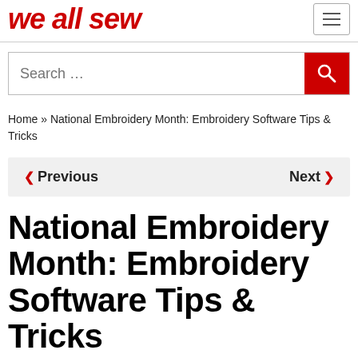we all sew
[Figure (other): Search bar with red search button and magnifying glass icon]
Home » National Embroidery Month: Embroidery Software Tips & Tricks
< Previous   Next >
National Embroidery Month: Embroidery Software Tips & Tricks